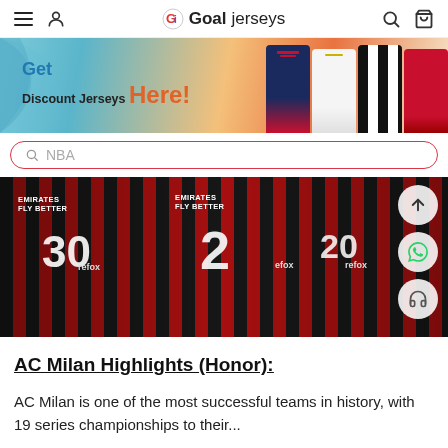Goaljerseys — navigation header
[Figure (infographic): Promotional banner: 'Get Discount Jerseys Here!' with football jerseys on the right side. Colorful background in blue, orange, red tones.]
Q NBA (search box placeholder)
[Figure (photo): AC Milan players in red and black striped Emirates Fly Better jerseys. Visible jersey numbers: 30, 2, 20. Sponsor logos: refox.]
AC Milan Highlights (Honor):
AC Milan is one of the most successful teams in history, with 19 series championships to their...